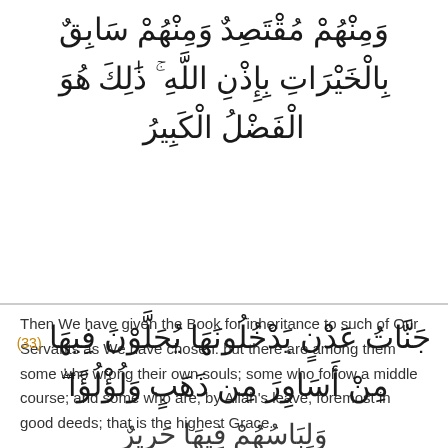وَمِنْهُمْ مُقْتَصِدٌ وَمِنْهُمْ سَابِقٌ بِالْخَيْرَاتِ بِإِذْنِ اللَّهِ ۚ ذَٰلِكَ هُوَ الْفَضْلُ الْكَبِيرُ
Then We have given the Book for inheritance to such of Our Servants as We have chosen: but there are among them some who wrong their own souls; some who follow a middle course; and some who are, by Allah's leave, foremost in good deeds; that is the highest Grace.
(33) جَنَّاتُ عَدْنٍ يَدْخُلُونَهَا يُحَلَّوْنَ فِيهَا مِنْ أَسَاوِرَ مِن ذَهَبٍ وَلُؤْلُؤًا ۖ